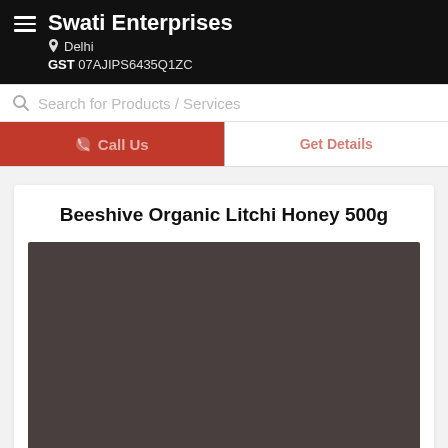Swati Enterprises
Delhi
GST 07AJIPS6435Q1ZC
Search for Products / Services
Call Us   Get Details
Beeshive Organic Litchi Honey 500g
[Figure (photo): Product image placeholder — dark brownish-grey rectangle representing the product photo area]